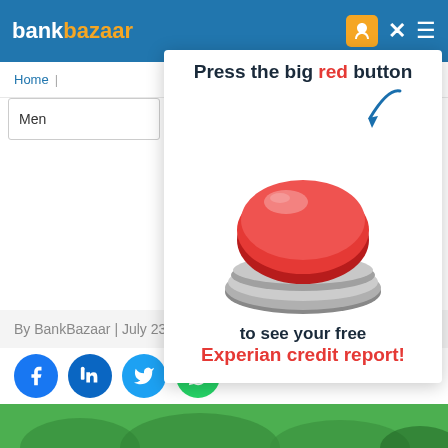bankbazaar
Home | Financially
[Figure (screenshot): Popup overlay showing a large red button with text 'Press the big red button to see your free Experian credit report!' with a blue arrow pointing to the button.]
Bu... ne Fir... Ind...
By BankBazaar | July 23, 2017
[Figure (other): Social sharing icons: Facebook, LinkedIn, Twitter, WhatsApp]
[Figure (photo): Green plant/nature image strip at bottom]